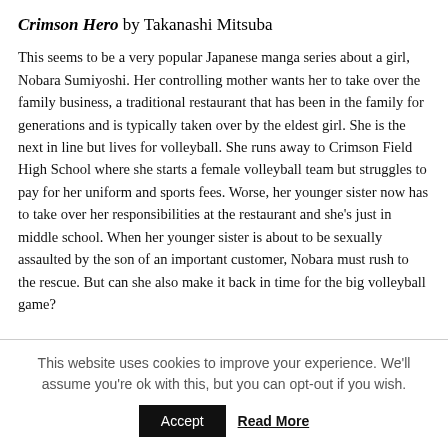Crimson Hero by Takanashi Mitsuba
This seems to be a very popular Japanese manga series about a girl, Nobara Sumiyoshi. Her controlling mother wants her to take over the family business, a traditional restaurant that has been in the family for generations and is typically taken over by the eldest girl. She is the next in line but lives for volleyball. She runs away to Crimson Field High School where she starts a female volleyball team but struggles to pay for her uniform and sports fees. Worse, her younger sister now has to take over her responsibilities at the restaurant and she's just in middle school. When her younger sister is about to be sexually assaulted by the son of an important customer, Nobara must rush to the rescue. But can she also make it back in time for the big volleyball game?
This website uses cookies to improve your experience. We'll assume you're ok with this, but you can opt-out if you wish.
Accept  Read More